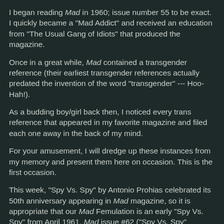I began reading Mad in 1960; issue number 55 to be exact. I quickly became a "Mad Addict" and received an education from "The Usual Gang of Idiots" that produced the magazine.
Once in a great while, Mad contained a transgender reference (their earliest transgender references actually predated the invention of the word "transgender" --- Hoo-Hah!).
As a budding boy/girl back then, I noticed every trans reference that appeared in my favorite magazine and filed each one away in the back of my mind.
For your amusement, I will dredge up these instances from my memory and present them here on occasion. This is the first occasion.
This week, "Spy Vs. Spy" by Antonio Prohias celebrated its 50th anniversary appearing in Mad magazine, so it is appropriate that our Mad Femulation is an early "Spy Vs. Spy" from April 1961, Mad issue #62 ("Spy Vs. Spy" debuted in issue #60).